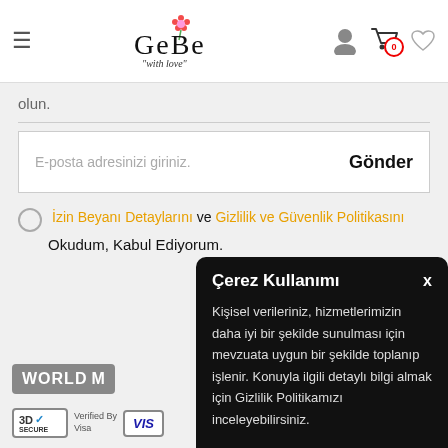[Figure (logo): GeBe 'with love' brand logo with flower icon]
olun.
E-posta adresinizi giriniz.    Gönder
İzin Beyanı Detaylarını ve Gizlilik ve Güvenlik Politikasını Okudum, Kabul Ediyorum.
Çerez Kullanımı
Kişisel verileriniz, hizmetlerimizin daha iyi bir şekilde sunulması için mevzuata uygun bir şekilde toplanıp işlenir. Konuyla ilgili detaylı bilgi almak için Gizlilik Politikamızı inceleyebilirsiniz.
[Figure (logo): WORLD M payment badge, 3D Secure Verified by Visa badge, VISA badge]